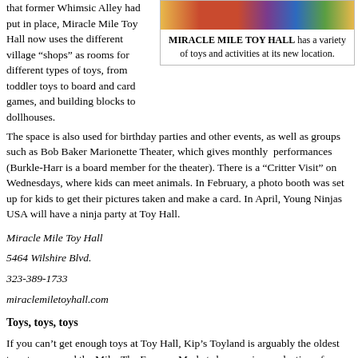that former Whimsic Alley had put in place, Miracle Mile Toy Hall now uses the different village “shops” as rooms for different types of toys, from toddler toys to board and card games, and building blocks to dollhouses.
[Figure (photo): Photo of Miracle Mile Toy Hall interior with colorful toys]
MIRACLE MILE TOY HALL has a variety of toys and activities at its new location.
The space is also used for birthday parties and other events, as well as groups such as Bob Baker Marionette Theater, which gives monthly performances (Burkle-Harr is a board member for the theater). There is a “Critter Visit” on Wednesdays, where kids can meet animals. In February, a photo booth was set up for kids to get their pictures taken and make a card. In April, Young Ninjas USA will have a ninja party at Toy Hall.
Miracle Mile Toy Hall
5464 Wilshire Blvd.
323-389-1733
miraclemiletoyhall.com
Toys, toys, toys
If you can’t get enough toys at Toy Hall, Kip’s Toyland is arguably the oldest toy store around the Mile. The Farmers Market shop carries a selection of classic and retro toys, and it is always worth